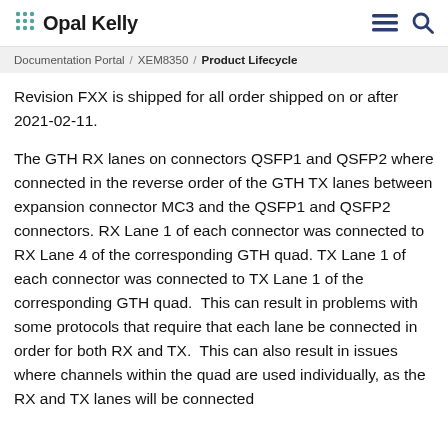Opal Kelly
Documentation Portal / XEM8350 / Product Lifecycle
Revision FXX is shipped for all order shipped on or after 2021-02-11.
The GTH RX lanes on connectors QSFP1 and QSFP2 where connected in the reverse order of the GTH TX lanes between expansion connector MC3 and the QSFP1 and QSFP2 connectors. RX Lane 1 of each connector was connected to RX Lane 4 of the corresponding GTH quad. TX Lane 1 of each connector was connected to TX Lane 1 of the corresponding GTH quad. This can result in problems with some protocols that require that each lane be connected in order for both RX and TX. This can also result in issues where channels within the quad are used individually, as the RX and TX lanes will be connected